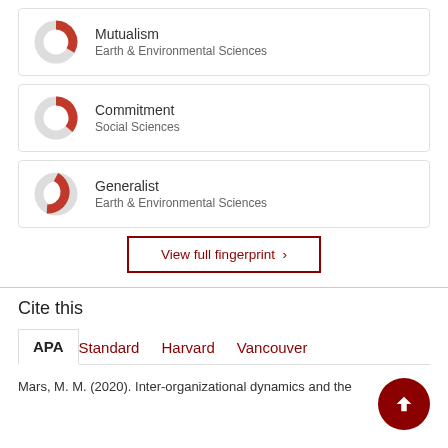[Figure (donut-chart): Donut chart showing partial fill for Mutualism keyword, red arc on grey circle]
Mutualism
Earth & Environmental Sciences
[Figure (donut-chart): Donut chart showing partial fill for Commitment keyword, red arc on grey circle]
Commitment
Social Sciences
[Figure (donut-chart): Donut chart showing partial fill for Generalist keyword, red arc on grey circle]
Generalist
Earth & Environmental Sciences
View full fingerprint >
Cite this
APA  Standard  Harvard  Vancouver
Mars, M. M. (2020). Inter-organizational dynamics and the